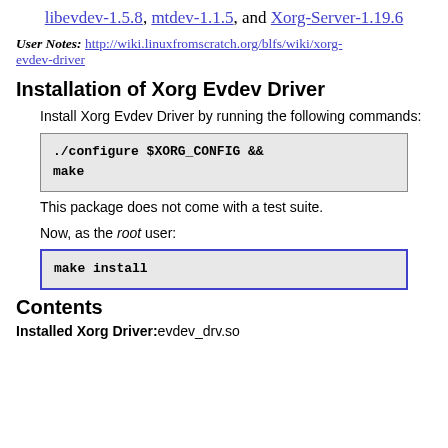libevdev-1.5.8, mtdev-1.1.5, and Xorg-Server-1.19.6
User Notes: http://wiki.linuxfromscratch.org/blfs/wiki/xorg-evdev-driver
Installation of Xorg Evdev Driver
Install Xorg Evdev Driver by running the following commands:
./configure $XORG_CONFIG &&
make
This package does not come with a test suite.
Now, as the root user:
make install
Contents
Installed Xorg Driver: evdev_drv.so